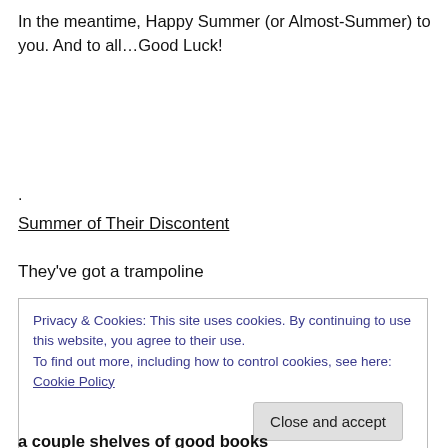In the meantime, Happy Summer (or Almost-Summer) to you. And to all…Good Luck!
.
Summer of Their Discontent
They've got a trampoline
Privacy & Cookies: This site uses cookies. By continuing to use this website, you agree to their use.
To find out more, including how to control cookies, see here: Cookie Policy
Close and accept
a couple shelves of good books